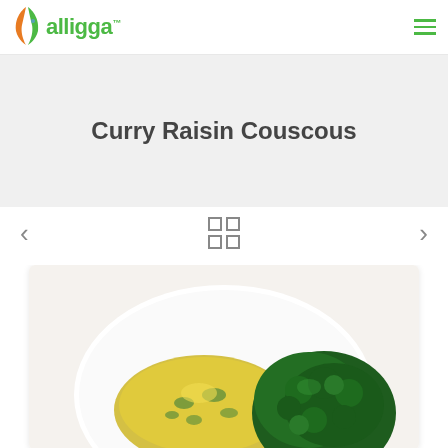[Figure (logo): Alligga brand logo with leaf icon and green text]
Curry Raisin Couscous
[Figure (infographic): Navigation controls: left arrow, 2x2 grid icon, right arrow]
[Figure (photo): Photo of curry raisin couscous dish on a white plate with kale garnish]